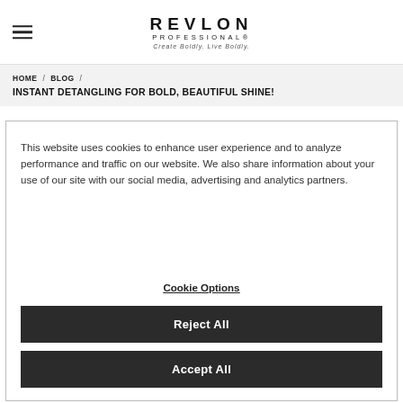REVLON PROFESSIONAL® — Create Boldly. Live Boldly.
HOME / BLOG / INSTANT DETANGLING FOR BOLD, BEAUTIFUL SHINE!
This website uses cookies to enhance user experience and to analyze performance and traffic on our website. We also share information about your use of our site with our social media, advertising and analytics partners.
Cookie Options
Reject All
Accept All